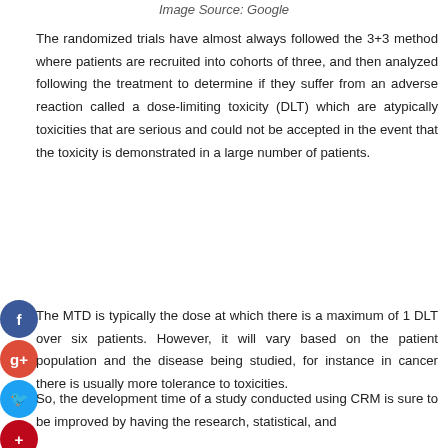Image Source: Google
The randomized trials have almost always followed the 3+3 method where patients are recruited into cohorts of three, and then analyzed following the treatment to determine if they suffer from an adverse reaction called a dose-limiting toxicity (DLT) which are atypically toxicities that are serious and could not be accepted in the event that the toxicity is demonstrated in a large number of patients.
The MTD is typically the dose at which there is a maximum of 1 DLT over six patients. However, it will vary based on the patient population and the disease being studied, for instance in cancer there is usually more tolerance to toxicities.
So, the development time of a study conducted using CRM is sure to be improved by having the research, statistical, and